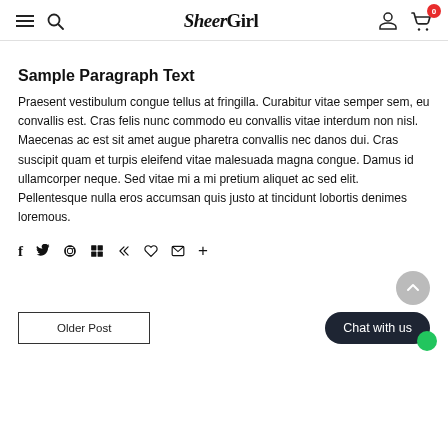SheerGirl — navigation header with menu, search, logo, user and cart icons
Sample Paragraph Text
Praesent vestibulum congue tellus at fringilla. Curabitur vitae semper sem, eu convallis est. Cras felis nunc commodo eu convallis vitae interdum non nisl. Maecenas ac est sit amet augue pharetra convallis nec danos dui. Cras suscipit quam et turpis eleifend vitae malesuada magna congue. Damus id ullamcorper neque. Sed vitae mi a mi pretium aliquet ac sed elit. Pellentesque nulla eros accumsan quis justo at tincidunt lobortis denimes loremous.
Social share icons: f, twitter, pinterest, grid, feather, heart, email, plus
Older Post | Chat with us